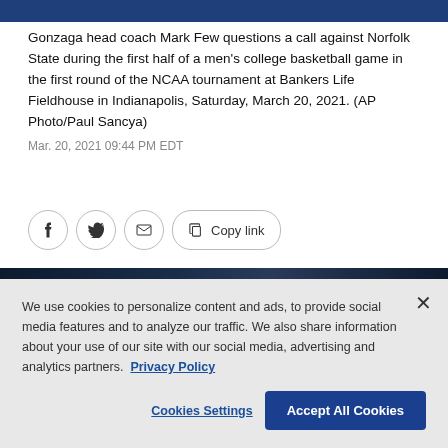[Figure (photo): Top portion of photo showing Gonzaga head coach Mark Few, dark blue background]
Gonzaga head coach Mark Few questions a call against Norfolk State during the first half of a men's college basketball game in the first round of the NCAA tournament at Bankers Life Fieldhouse in Indianapolis, Saturday, March 20, 2021. (AP Photo/Paul Sancya)
Mar. 20, 2021 09:44 PM EDT
[Figure (screenshot): Social share buttons: Facebook, Twitter, Email, Copy link]
[Figure (photo): Bottom portion of basketball court/game photo, dark background with basketball visible]
We use cookies to personalize content and ads, to provide social media features and to analyze our traffic. We also share information about your use of our site with our social media, advertising and analytics partners. Privacy Policy
Cookies Settings | Accept All Cookies